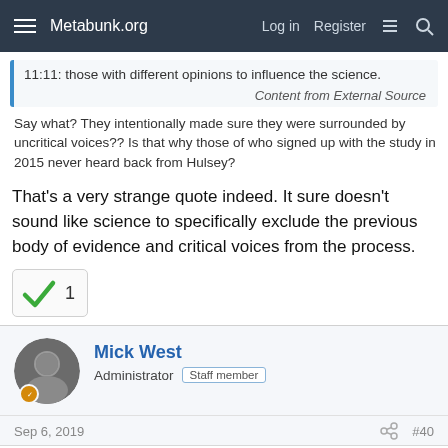Metabunk.org  Log in  Register
11:11: those with different opinions to influence the science.
Content from External Source
Say what? They intentionally made sure they were surrounded by uncritical voices?? Is that why those of who signed up with the study in 2015 never heard back from Hulsey?
That's a very strange quote indeed. It sure doesn't sound like science to specifically exclude the previous body of evidence and critical voices from the process.
[Figure (other): Green checkmark reaction icon with count of 1]
Mick West
Administrator  Staff member
Sep 6, 2019  #40
Oystein said: